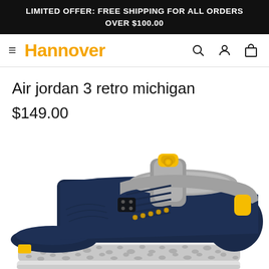LIMITED OFFER: FREE SHIPPING FOR ALL ORDERS OVER $100.00
[Figure (logo): Hannover store logo with hamburger menu icon on left and search, account, cart icons on right]
Air jordan 3 retro michigan
$149.00
[Figure (photo): Air Jordan 3 Retro Michigan sneaker in navy blue with grey elephant print midsole, yellow accents on tongue and lace eyelets, grey collar lining, photographed from a three-quarter front angle on white background]